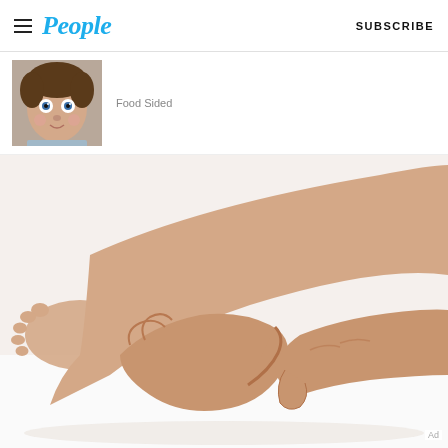People — SUBSCRIBE
[Figure (photo): Thumbnail image of a Cabbage Patch Kids-style baby doll face with brown curly hair and blue eyes]
Food Sided
[Figure (photo): Close-up photo of adult hands massaging or holding a baby's lower leg and foot against a white background]
Ad